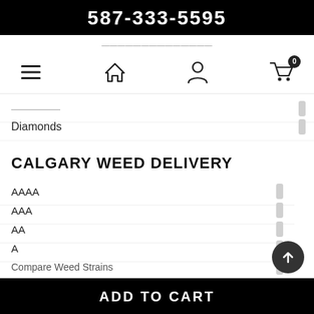587-333-5595
...
[Figure (screenshot): Navigation icons: hamburger menu, home, person/user, shopping cart with badge showing 0]
Minerals (faded/partially visible)
Diamonds
CALGARY WEED DELIVERY
AAAA
AAA
AA
A
Compare Weed Strains
NAVIGATE
ADD TO CART